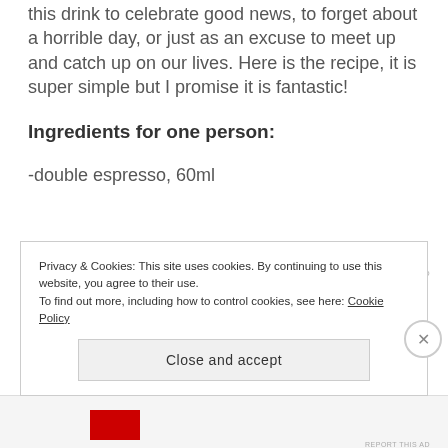this drink to celebrate good news, to forget about a horrible day, or just as an excuse to meet up and catch up on our lives. Here is the recipe, it is super simple but I promise it is fantastic!
Ingredients for one person:
-double espresso, 60ml
REPORT THIS AD
Privacy & Cookies: This site uses cookies. By continuing to use this website, you agree to their use.
To find out more, including how to control cookies, see here: Cookie Policy
Close and accept